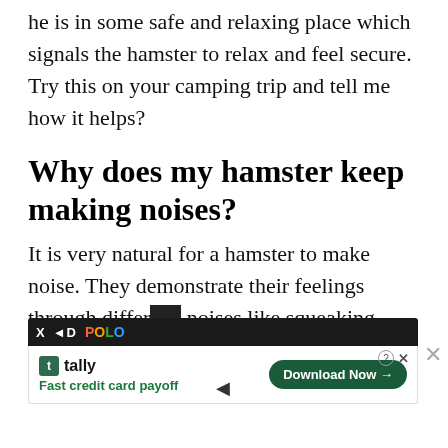he is in some safe and relaxing place which signals the hamster to relax and feel secure. Try this on your camping trip and tell me how it helps?
Why does my hamster keep making noises?
It is very natural for a hamster to make noise. They demonstrate their feelings through different noises like squeaking sounds...
[Figure (other): Advertisement overlay from Tally: 'Fast credit card payoff' with Download Now button, partially covering the text. Also shows an AdPolo banner.]